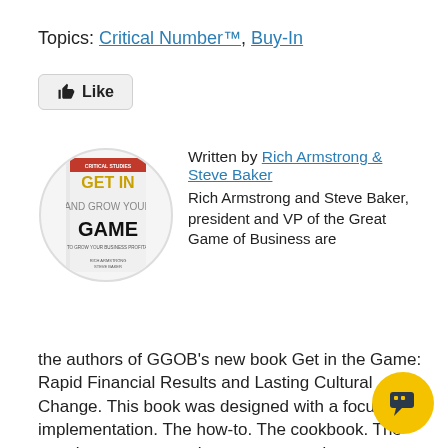Topics: Critical Number™, Buy-In
[Figure (illustration): A like/thumbs-up button with label 'Like']
[Figure (photo): Book cover of 'Get in the Game' by Rich Armstrong & Steve Baker, displayed inside a circular frame]
Written by Rich Armstrong & Steve Baker
Rich Armstrong and Steve Baker, president and VP of the Great Game of Business are the authors of GGOB's new book Get in the Game: Rapid Financial Results and Lasting Cultural Change. This book was designed with a focus on implementation. The how-to. The cookbook. The step-by-step approach we use every day to implement and sustain The Great Game of Business.